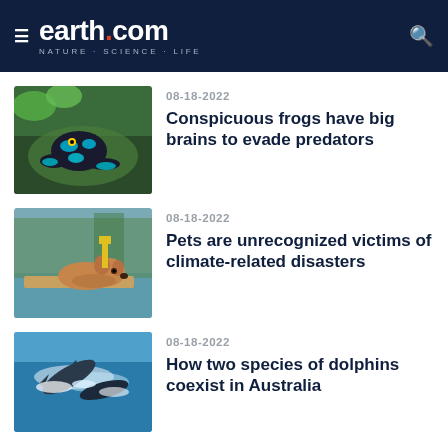earth.com — NATURE · SCIENCE · LIFE
08-18-2022
Conspicuous frogs have big brains to evade predators
08-18-2022
Pets are unrecognized victims of climate-related disasters
08-18-2022
How two species of dolphins coexist in Australia